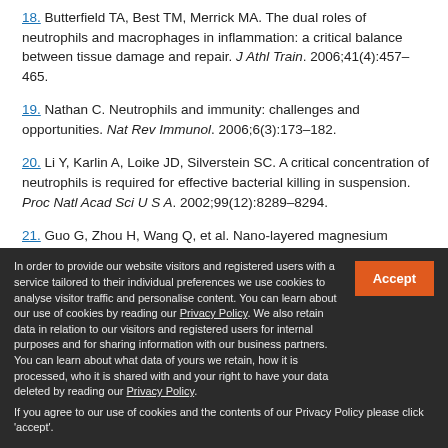18. Butterfield TA, Best TM, Merrick MA. The dual roles of neutrophils and macrophages in inflammation: a critical balance between tissue damage and repair. J Athl Train. 2006;41(4):457–465.
19. Nathan C. Neutrophils and immunity: challenges and opportunities. Nat Rev Immunol. 2006;6(3):173–182.
20. Li Y, Karlin A, Loike JD, Silverstein SC. A critical concentration of neutrophils is required for effective bacterial killing in suspension. Proc Natl Acad Sci U S A. 2002;99(12):8289–8294.
21. Guo G, Zhou H, Wang Q, et al. Nano-layered magnesium…
In order to provide our website visitors and registered users with a service tailored to their individual preferences we use cookies to analyse visitor traffic and personalise content. You can learn about our use of cookies by reading our Privacy Policy. We also retain data in relation to our visitors and registered users for internal purposes and for sharing information with our business partners. You can learn about what data of yours we retain, how it is processed, who it is shared with and your right to have your data deleted by reading our Privacy Policy. If you agree to our use of cookies and the contents of our Privacy Policy please click 'accept'.